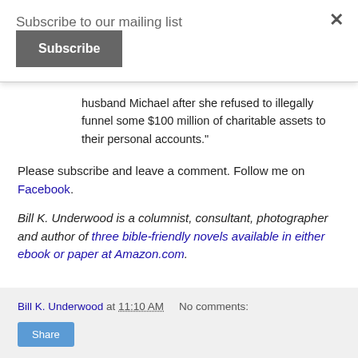Subscribe to our mailing list
Subscribe [button]
husband Michael after she refused to illegally funnel some $100 million of charitable assets to their personal accounts."
Please subscribe and leave a comment. Follow me on Facebook.
Bill K. Underwood is a columnist, consultant, photographer and author of three bible-friendly novels available in either ebook or paper at Amazon.com.
Bill K. Underwood at 11:10 AM   No comments:   Share